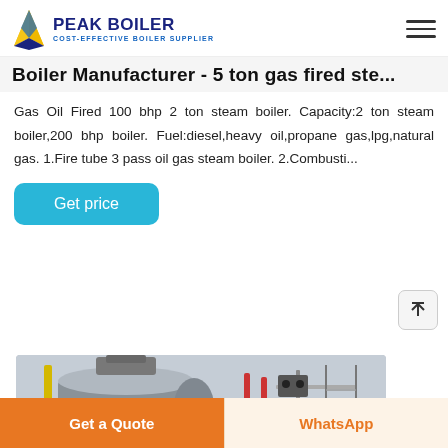PEAK BOILER COST-EFFECTIVE BOILER SUPPLIER
Boiler Manufacturer - 5 ton gas fired ste...
Gas Oil Fired 100 bhp 2 ton steam boiler. Capacity:2 ton steam boiler,200 bhp boiler. Fuel:diesel,heavy oil,propane gas,lpg,natural gas. 1.Fire tube 3 pass oil gas steam boiler. 2.Combusti...
Get price
[Figure (photo): Industrial gas fired steam boiler in a factory setting, showing large cylindrical vessel with piping and control equipment]
Get a Quote
WhatsApp